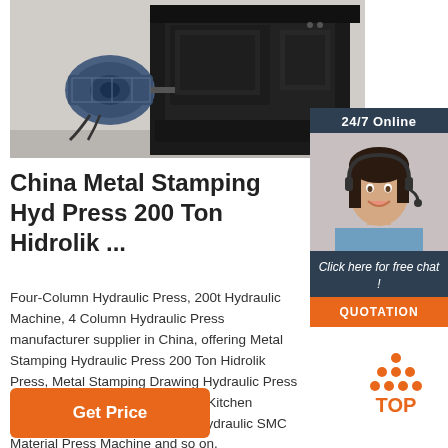[Figure (photo): Industrial hydraulic press machine with a blue electric motor on the left side, dark metal body, photographed in a warehouse or factory setting.]
[Figure (photo): 24/7 Online chat support panel showing a woman wearing a headset smiling, with a 'Click here for free chat!' message and an orange QUOTATION button.]
China Metal Stamping Hyd Press 200 Ton Hidrolik ...
Four-Column Hydraulic Press, 200t Hydraulic Machine, 4 Column Hydraulic Press manufacturer supplier in China, offering Metal Stamping Hydraulic Press 200 Ton Hidrolik Press, Metal Stamping Drawing Hydraulic Press Machine for Stainless Steel Sink Kitchen Cookware, 315t Four Columns Hydraulic SMC Material Press Machine and so on.
[Figure (logo): Orange TOP button/logo with dot pattern above the text TOP]
Get Price